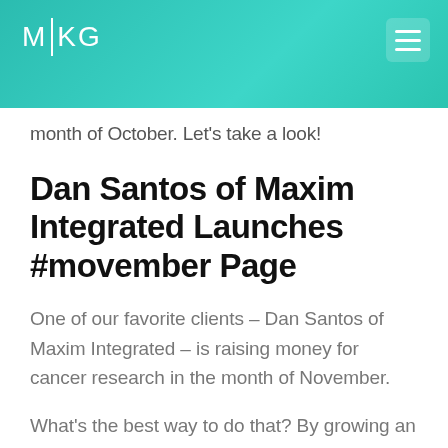MKG
month of October. Let's take a look!
Dan Santos of Maxim Integrated Launches #movember Page
One of our favorite clients – Dan Santos of Maxim Integrated – is raising money for cancer research in the month of November.
What's the best way to do that? By growing an